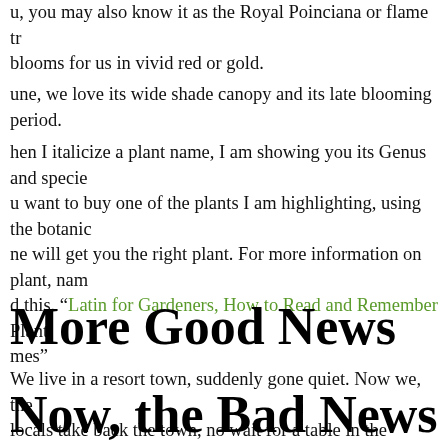u, you may also know it as the Royal Poinciana or flame tree. blooms for us in vivid red or gold.
une, we love its wide shade canopy and its late blooming period.
hen I italicize a plant name, I am showing you its Genus and species. u want to buy one of the plants I am highlighting, using the botanic ne will get you the right plant. For more information on plant, name d this. "Latin for Gardeners, How to Read and Remember Plant mes"
More Good News
We live in a resort town, suddenly gone quiet. Now we, the locals take back the town, no wait for a table in the restaurants and our 16 miles of beach are all ours!
Now, the Bad News